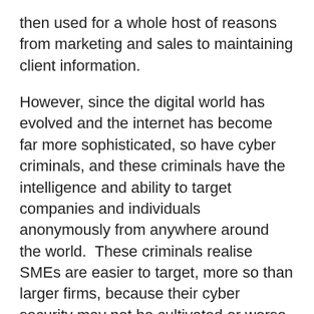then used for a whole host of reasons from marketing and sales to maintaining client information.
However, since the digital world has evolved and the internet has become far more sophisticated, so have cyber criminals, and these criminals have the intelligence and ability to target companies and individuals anonymously from anywhere around the world.  These criminals realise SMEs are easier to target, more so than larger firms, because their cyber security may not be cultivated or worse still, they may not have any security measures in place.
Due to the increased possibility of cyber-attacks and the potential threat to SMEs and the millions of pounds they hold...